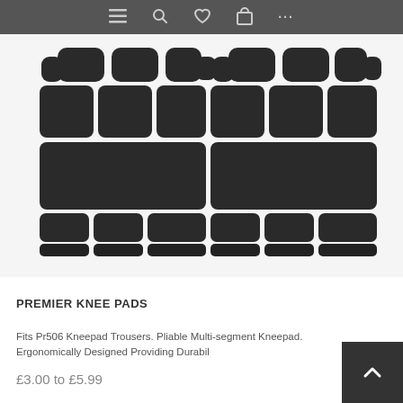Navigation bar with menu, search, wishlist, cart, and more icons
[Figure (photo): Two black segmented knee pads side by side, viewed from above, showing multi-segment ergonomic foam construction on white/light grey background]
PREMIER KNEE PADS
Fits Pr506 Kneepad Trousers. Pliable Multi-segment Kneepad. Ergonomically Designed Providing Durabil
£3.00 to £5.99